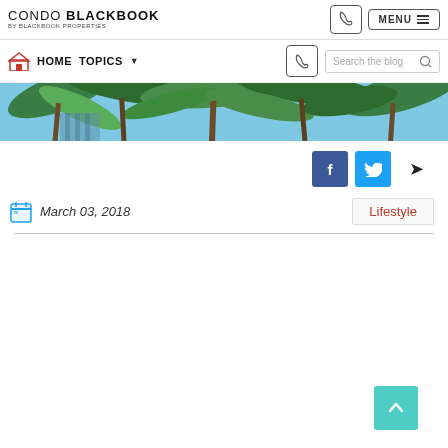CONDO BLACKBOOK by Blackbook Properties
HOME  TOPICS
[Figure (photo): Tropical palm trees and building exterior against blue sky, banner image]
Social share buttons: Facebook, Twitter, Share
March 03, 2018
Lifestyle